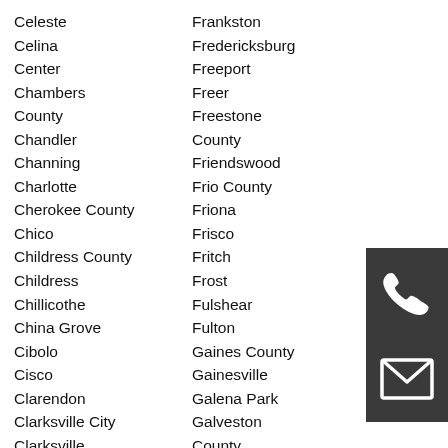Celeste
Frankston
Celina
Fredericksburg
Center
Freeport
Chambers County
Freer
County
Freestone County
Chandler
Friendswood
Channing
Frio County
Charlotte
Friona
Cherokee County
Frisco
Chico
Fritch
Childress County
Frost
Childress
Fulshear
Chillicothe
Fulton
China Grove
Gaines County
Cibolo
Gainesville
Cisco
Galena Park
Clarendon
Galveston
Clarksville City
County
Clarksville
[Figure (illustration): Phone icon on dark grey background]
[Figure (illustration): Email/envelope icon on dark grey background]